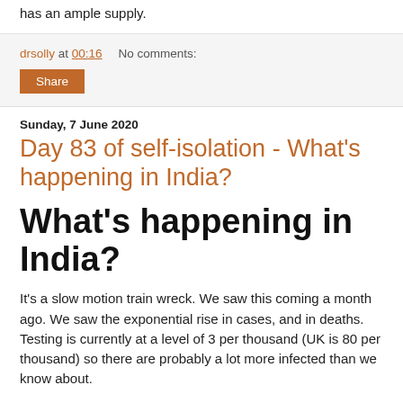has an ample supply.
drsolly at 00:16   No comments:
Share
Sunday, 7 June 2020
Day 83 of self-isolation - What's happening in India?
What's happening in India?
It's a slow motion train wreck. We saw this coming a month ago. We saw the exponential rise in cases, and in deaths. Testing is currently at a level of 3 per thousand (UK is 80 per thousand) so there are probably a lot more infected than we know about.